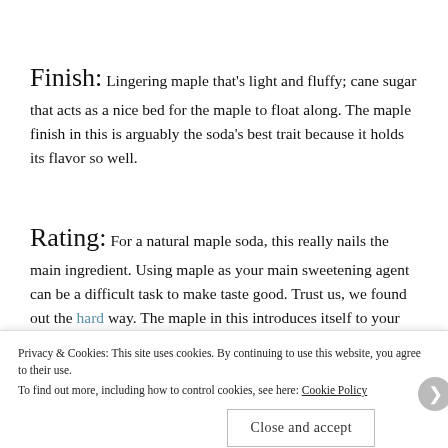Finish: Lingering maple that's light and fluffy; cane sugar that acts as a nice bed for the maple to float along. The maple finish in this is arguably the soda's best trait because it holds its flavor so well.
Rating: For a natural maple soda, this really nails the main ingredient. Using maple as your main sweetening agent can be a difficult task to make taste good. Trust us, we found out the hard way. The maple in this introduces itself to your palate right away and is accompanied by some fruity notes. We
Privacy & Cookies: This site uses cookies. By continuing to use this website, you agree to their use.
To find out more, including how to control cookies, see here: Cookie Policy
Close and accept